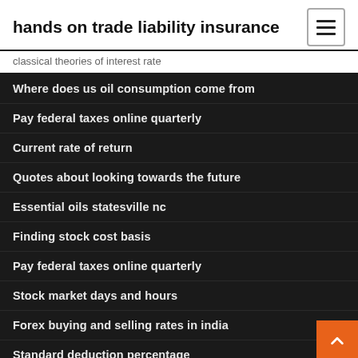hands on trade liability insurance
classical theories of interest rate
Where does us oil consumption come from
Pay federal taxes online quarterly
Current rate of return
Quotes about looking towards the future
Essential oils statesville nc
Finding stock cost basis
Pay federal taxes online quarterly
Stock market days and hours
Forex buying and selling rates in india
Standard deduction percentage